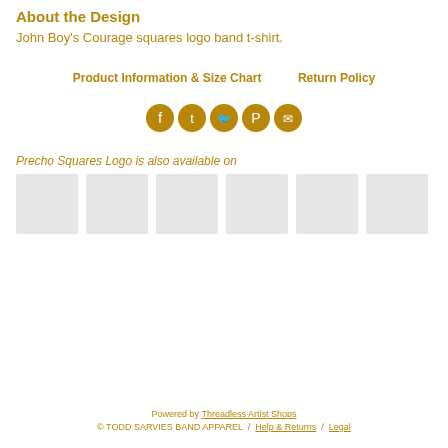About the Design
John Boy's Courage squares logo band t-shirt.
Product Information & Size Chart    Return Policy
[Figure (infographic): Five circular social media share icons in gold: Facebook, Tumblr, Twitter, Pinterest, Email]
Precho Squares Logo is also available on
[Figure (infographic): Six light gray placeholder thumbnail images in a row]
Powered by Threadless Artist Shops
© TODD SARVIES BAND APPAREL  /  Help & Returns  /  Legal